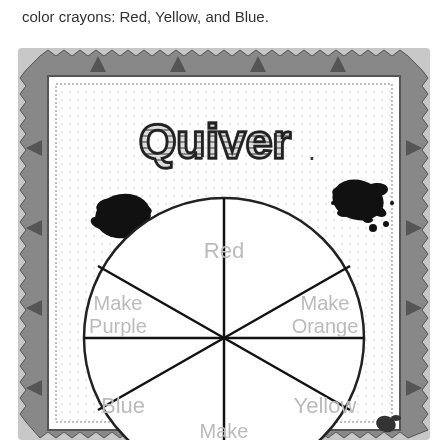color crayons: Red, Yellow, and Blue.
[Figure (illustration): A decorative stamp-bordered worksheet featuring the 'Quiver' logo at the top with striped bubble letters. Below is a color wheel divided into 6 sections labeled: Red (top), Make Orange (right), Yellow (bottom right), Make Green (bottom, partially visible), Blue (bottom left), Make Purple (left). Two ink splat decorations appear on the inner background. The border has a wavy/zigzag stamp-like edge with triangular notches.]